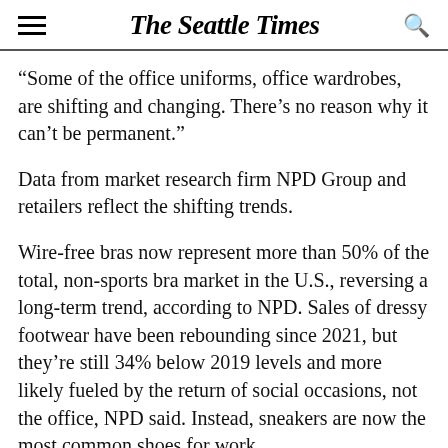The Seattle Times
“Some of the office uniforms, office wardrobes, are shifting and changing. There’s no reason why it can’t be permanent.”
Data from market research firm NPD Group and retailers reflect the shifting trends.
Wire-free bras now represent more than 50% of the total, non-sports bra market in the U.S., reversing a long-term trend, according to NPD. Sales of dressy footwear have been rebounding since 2021, but they’re still 34% below 2019 levels and more likely fueled by the return of social occasions, not the office, NPD said. Instead, sneakers are now the most common shoes for work.